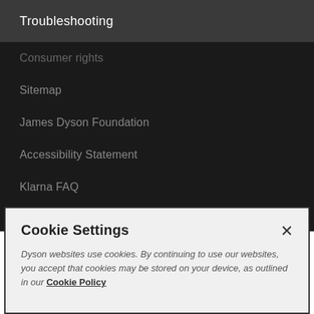Troubleshooting
Consumer rights
Sitemap
James Dyson Foundation
Accessibility Statement
Klarna FAQ
Cookie Settings
Dyson websites use cookies. By continuing to use our websites, you accept that cookies may be stored on your device, as outlined in our Cookie Policy